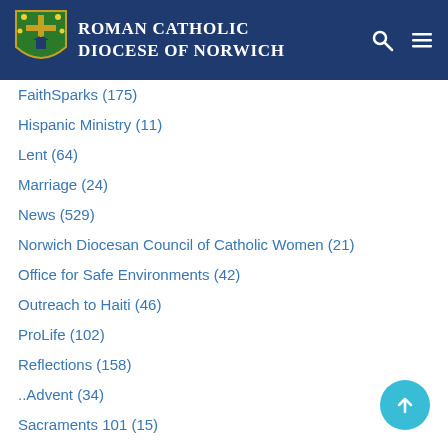Roman Catholic Diocese of Norwich
FaithSparks (175)
Hispanic Ministry (11)
Lent (64)
Marriage (24)
News (529)
Norwich Diocesan Council of Catholic Women (21)
Office for Safe Environments (42)
Outreach to Haiti (46)
ProLife (102)
Reflections (158)
..Advent (34)
Sacraments 101 (15)
School News (147)